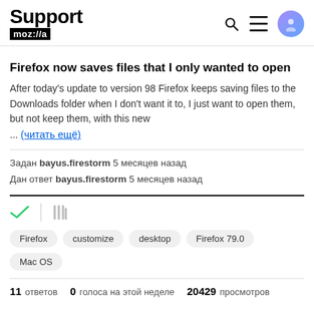Support mozilla
Firefox now saves files that I only wanted to open
After today's update to version 98 Firefox keeps saving files to the Downloads folder when I don't want it to, I just want to open them, but not keep them, with this new ... (читать ещё)
Задан bayus.firestorm 5 месяцев назад
Дан ответ bayus.firestorm 5 месяцев назад
Firefox  customize  desktop  Firefox 79.0  Mac OS
11 ответов  0 голоса на этой неделе  20429 просмотров